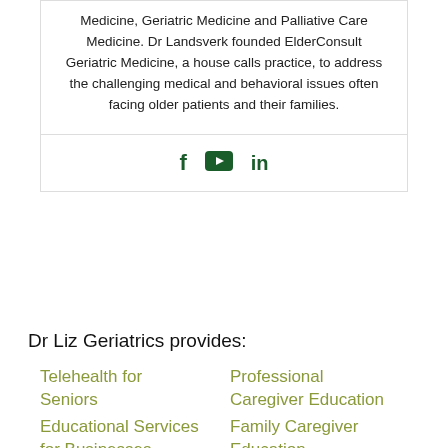Medicine, Geriatric Medicine and Palliative Care Medicine. Dr Landsverk founded ElderConsult Geriatric Medicine, a house calls practice, to address the challenging medical and behavioral issues often facing older patients and their families.
[Figure (other): Social media icons: Facebook (f), YouTube (play button rectangle), LinkedIn (in)]
Dr Liz Geriatrics provides:
Telehealth for Seniors
Educational Services for Businesses
Professional Caregiver Education
Family Caregiver Education